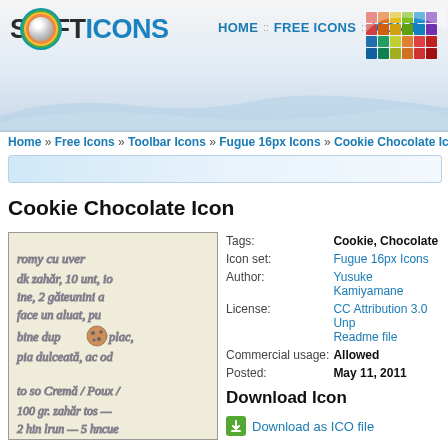SOFTICONS — HOME :: FREE ICONS :: ICON T...
Home » Free Icons » Toolbar Icons » Fugue 16px Icons » Cookie Chocolate Ico...
Cookie Chocolate Icon
[Figure (photo): Cookie Chocolate Icon image — a handwritten recipe note with a small chocolate cookie icon overlaid]
| Field | Value |
| --- | --- |
| Tags: | Cookie, Chocolate |
| Icon set: | Fugue 16px Icons |
| Author: | Yusuke Kamiyamane |
| License: | CC Attribution 3.0 Unp... Readme file |
| Commercial usage: | Allowed |
| Posted: | May 11, 2011 |
Download Icon
Download as ICO file